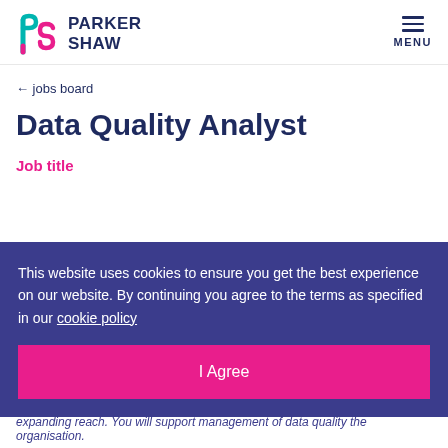Parker Shaw | MENU
← jobs board
Data Quality Analyst
Job title
This website uses cookies to ensure you get the best experience on our website. By continuing you agree to the terms as specified in our cookie policy
I Agree
expanding reach. You will support management of data quality the organisation. In addition, you...